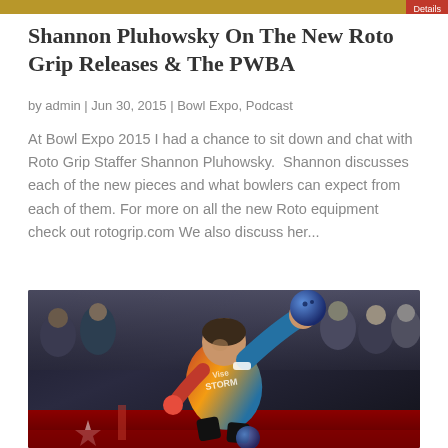Details
Shannon Pluhowsky On The New Roto Grip Releases & The PWBA
by admin | Jun 30, 2015 | Bowl Expo, Podcast
At Bowl Expo 2015 I had a chance to sit down and chat with Roto Grip Staffer Shannon Pluhowsky.  Shannon discusses each of the new pieces and what bowlers can expect from each of them. For more on all the new Roto equipment check out rotogrip.com We also discuss her...
[Figure (photo): A bowler in a colorful Storm/Vise shirt releasing a bowling ball, with a crowd visible in the background]